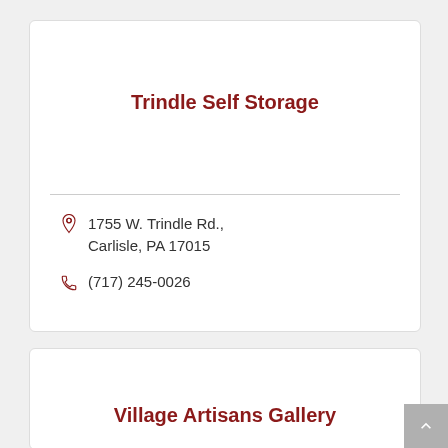Trindle Self Storage
1755 W. Trindle Rd., Carlisle, PA 17015
(717) 245-0026
Village Artisans Gallery